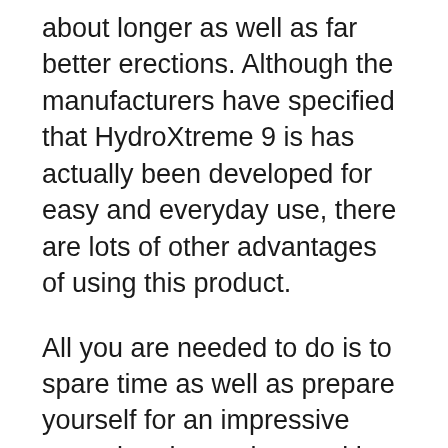about longer as well as far better erections. Although the manufacturers have specified that HydroXtreme 9 is has actually been developed for easy and everyday use, there are lots of other advantages of using this product.
All you are needed to do is to spare time as well as prepare yourself for an impressive sex-related experience with your partner. You can use this item in your shower.
It takes only 15 minutes for this gadget to assist you attain whatever that you have been long food craving. Not just this, yet the makers additionally assert that you can attain a penile size rise by 1-3 inches upon